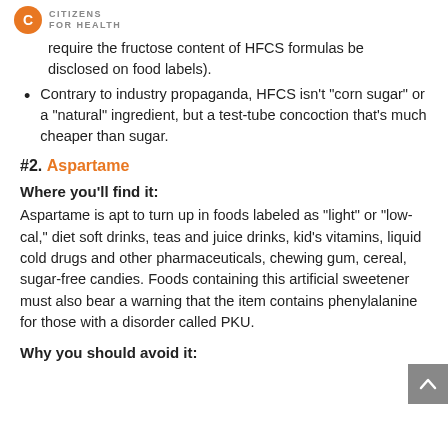CITIZENS FOR HEALTH
require the fructose content of HFCS formulas be disclosed on food labels).
Contrary to industry propaganda, HFCS isn’t “corn sugar” or a “natural” ingredient, but a test-tube concoction that’s much cheaper than sugar.
#2. Aspartame
Where you’ll find it:
Aspartame is apt to turn up in foods labeled as “light” or “low-cal,” diet soft drinks, teas and juice drinks, kid’s vitamins, liquid cold drugs and other pharmaceuticals, chewing gum, cereal, sugar-free candies. Foods containing this artificial sweetener must also bear a warning that the item contains phenylalanine for those with a disorder called PKU.
Why you should avoid it: